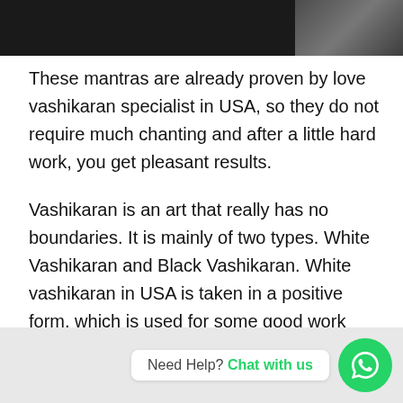[Figure (photo): Black and white photo banner at top, showing a dark image with a partially visible face on the right side]
These mantras are already proven by love vashikaran specialist in USA, so they do not require much chanting and after a little hard work, you get pleasant results.
Vashikaran is an art that really has no boundaries. It is mainly of two types. White Vashikaran and Black Vashikaran. White vashikaran in USA is taken in a positive form, which is used for some good work
[Figure (screenshot): WhatsApp chat widget at the bottom. Shows 'Need Help? Chat with us' text in a white bubble, and a green WhatsApp icon button on the right.]